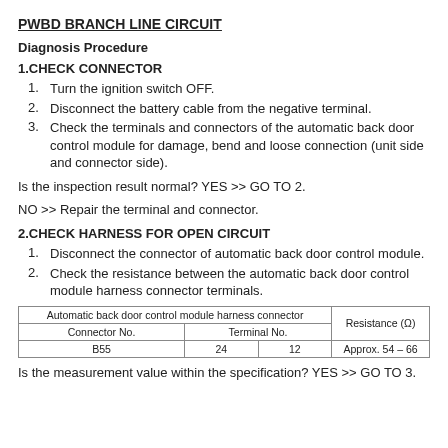PWBD BRANCH LINE CIRCUIT
Diagnosis Procedure
1.CHECK CONNECTOR
1.  Turn the ignition switch OFF.
2.  Disconnect the battery cable from the negative terminal.
3.  Check the terminals and connectors of the automatic back door control module for damage, bend and loose connection (unit side and connector side).
Is the inspection result normal? YES >> GO TO 2.
NO >> Repair the terminal and connector.
2.CHECK HARNESS FOR OPEN CIRCUIT
1.  Disconnect the connector of automatic back door control module.
2. Check the resistance between the automatic back door control module harness connector terminals.
| Connector No. | Terminal No. |  | Resistance (Ω) |
| --- | --- | --- | --- |
| B55 | 24 | 12 | Approx. 54 – 66 |
Is the measurement value within the specification? YES >> GO TO 3.